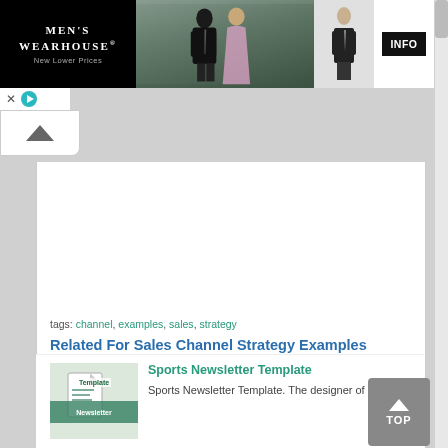[Figure (screenshot): Men's Wearhouse advertisement banner. Black background on left with 'MEN'S WEARHOUSE New Lower Prices' text, center shows couple in formal wear, right shows man in suit with INFO button]
tags: channel, examples, sales, strategy
Related For Sales Channel Strategy Examples
[Figure (screenshot): Thumbnail image for Sports Newsletter Template showing a document icon with green overlay text]
Sports Newsletter Template
Sports Newsletter Template. The designer of